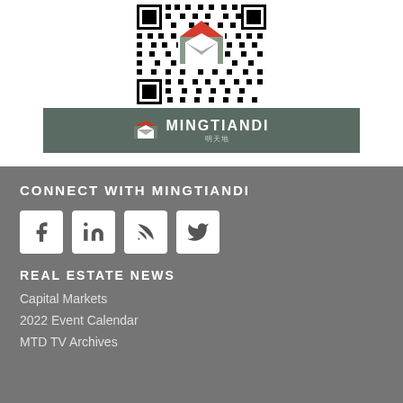[Figure (other): QR code with Mingtiandi logo overlay (envelope/house icon in red and grey) in the center]
[Figure (logo): Mingtiandi brand bar — dark teal/green background with the Mingtiandi logo (red/grey envelope icon) and text 'MINGTIANDI' in white bold uppercase, with Chinese characters below]
CONNECT WITH MINGTIANDI
[Figure (other): Social media icon buttons: Facebook (f), LinkedIn (in), RSS feed, Twitter (bird icon) — white square buttons on grey background]
REAL ESTATE NEWS
Capital Markets
2022 Event Calendar
MTD TV Archives